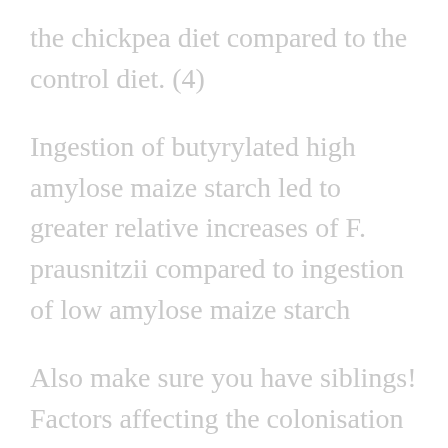the chickpea diet compared to the control diet. (4)
Ingestion of butyrylated high amylose maize starch led to greater relative increases of F. prausnitzii compared to ingestion of low amylose maize starch
Also make sure you have siblings! Factors affecting the colonisation of F. prausnitzii in the human gut during early life are very poorly understood. One study determined that the colonisation dynamics of